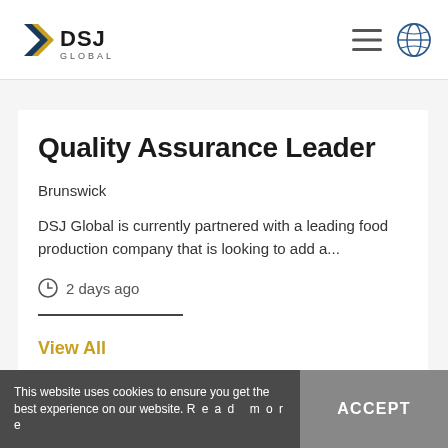DSJ Global
Quality Assurance Leader
Brunswick
DSJ Global is currently partnered with a leading food production company that is looking to add a...
2 days ago
View All
This website uses cookies to ensure you get the best experience on our website. Read more